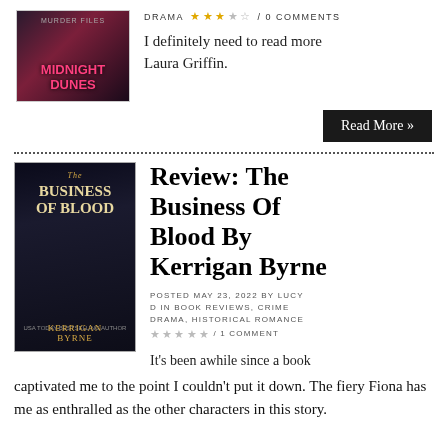[Figure (photo): Book cover for Midnight Dunes, dark background with pink title text]
DRAMA ★★★☆☆ / 0 COMMENTS
I definitely need to read more Laura Griffin.
Read More »
[Figure (photo): Book cover for The Business of Blood by Kerrigan Byrne, dark Victorian-style cover]
Review: The Business Of Blood By Kerrigan Byrne
POSTED MAY 23, 2022 BY LUCY D IN BOOK REVIEWS, CRIME DRAMA, HISTORICAL ROMANCE ★★★★★ / 1 COMMENT
It's been awhile since a book captivated me to the point I couldn't put it down. The fiery Fiona has me as enthralled as the other characters in this story.